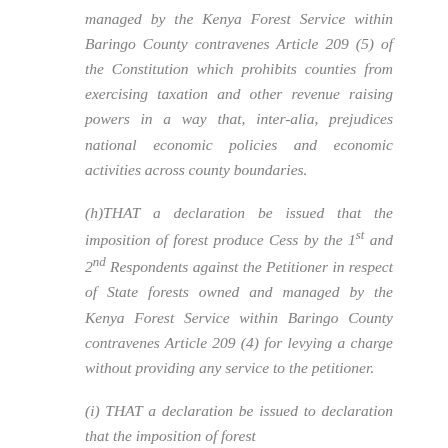managed by the Kenya Forest Service within Baringo County contravenes Article 209 (5) of the Constitution which prohibits counties from exercising taxation and other revenue raising powers in a way that, inter-alia, prejudices national economic policies and economic activities across county boundaries.
(h)THAT a declaration be issued that the imposition of forest produce Cess by the 1st and 2nd Respondents against the Petitioner in respect of State forests owned and managed by the Kenya Forest Service within Baringo County contravenes Article 209 (4) for levying a charge without providing any service to the petitioner.
(i) THAT a declaration be issued to declaration that the imposition of forest